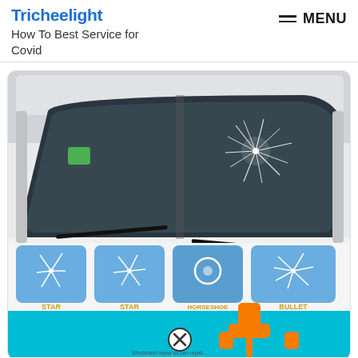Tricheelight
How To Best Service for Covid
[Figure (photo): Windshield repair product advertisement showing a car with a cracked windshield (star crack pattern visible), four inset images labeled STAR, STAR, HORSESHOE, BULLET showing different crack types, and an orange suction-cup repair tool at bottom. A close button (X in circle) is visible at bottom center.]